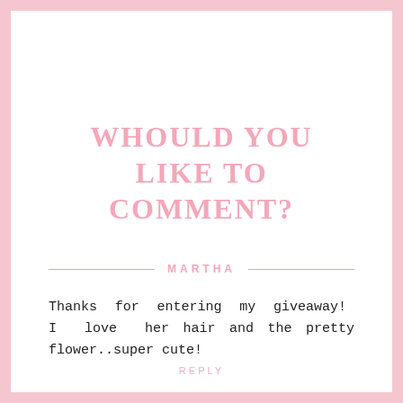WHOULD YOU LIKE TO COMMENT?
MARTHA
Thanks for entering my giveaway! I love her hair and the pretty flower..super cute!
REPLY